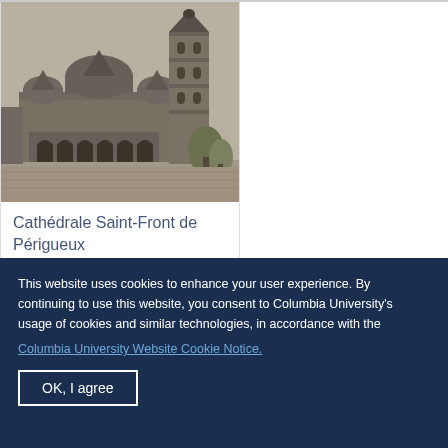[Figure (photo): Black and white photograph of Cathédrale Saint-Front de Périgueux, a Romanesque cathedral with multiple domes and a tall bell tower]
Cathédrale Saint-Front de Périgueux
This website uses cookies to enhance your user experience. By continuing to use this website, you consent to Columbia University's usage of cookies and similar technologies, in accordance with the
Columbia University Website Cookie Notice.
OK, I agree